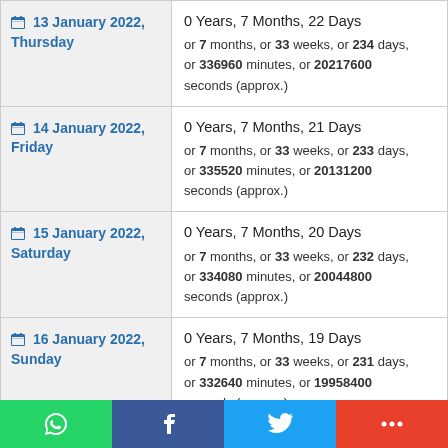| Date | Duration |
| --- | --- |
| 13 January 2022, Thursday | 0 Years, 7 Months, 22 Days
or 7 months, or 33 weeks, or 234 days, or 336960 minutes, or 20217600 seconds (approx.) |
| 14 January 2022, Friday | 0 Years, 7 Months, 21 Days
or 7 months, or 33 weeks, or 233 days, or 335520 minutes, or 20131200 seconds (approx.) |
| 15 January 2022, Saturday | 0 Years, 7 Months, 20 Days
or 7 months, or 33 weeks, or 232 days, or 334080 minutes, or 20044800 seconds (approx.) |
| 16 January 2022, Sunday | 0 Years, 7 Months, 19 Days
or 7 months, or 33 weeks, or 231 days, or 332640 minutes, or 19958400 seconds (approx.) |
| 17 January 2022, | 0 Years, 7 Months, 18 Days |